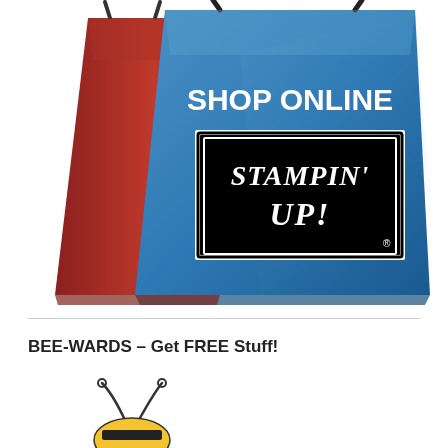[Figure (illustration): Two shopping bags — a red one on the left and a blue one on the right. The blue bag displays 'SHOP ONLINE' in white bold text at the top, and below it a black-framed logo rectangle containing 'STAMPIN' UP!' in white text on a black background.]
BEE-WARDS – Get FREE Stuff!
[Figure (illustration): A cartoon bee illustration showing the top portion: two curly antennae and the top of a yellow and black striped bee body.]